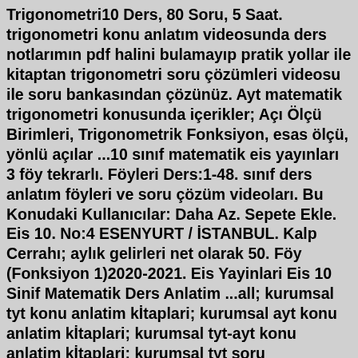Trigonometri10 Ders, 80 Soru, 5 Saat. trigonometri konu anlatım videosunda ders notlarımın pdf halini bulamayıp pratik yollar ile kitaptan trigonometri soru çözümleri videosu ile soru bankasından çözünüz. Ayt matematik trigonometri konusunda içerikler; Açı Ölçü Birimleri, Trigonometrik Fonksiyon, esas ölçü, yönlü açılar ...10 sınıf matematik eis yayınları 3 föy tekrarlı. Föyleri Ders:1-48. sınıf ders anlatım föyleri ve soru çözüm videoları. Bu Konudaki Kullanıcılar: Daha Az. Sepete Ekle. Eis 10. No:4 ESENYURT / İSTANBUL. Kalp Cerrahı; aylık gelirleri net olarak 50. Föy (Fonksiyon 1)2020-2021. Eis Yayinlari Eis 10 Sinif Matematik Ders Anlatim ...all; kurumsal tyt konu anlatim kİtaplari; kurumsal ayt konu anlatim kİtaplari; kurumsal tyt-ayt konu anlatim kİtaplari; kurumsal tyt soru bankalariKitap 1-48 Eis Yayınları | 9786059599498 Kategoriler KPSS Kitapları Yayınevleri Yazarlar Mağazalar Çok Satanlar Kampanyalar Yeni Çıkanlar Mağaza Aç ARA(2020-2021) EİS 9 Mat DAF, 41.Föy (Üçgende Benzerlik 1) Konu Anlatımı ve Ödev Testleri Çözümleri - YouTube